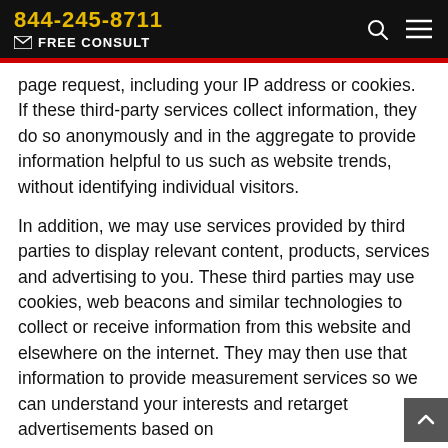844-245-8711 FREE CONSULT
page request, including your IP address or cookies. If these third-party services collect information, they do so anonymously and in the aggregate to provide information helpful to us such as website trends, without identifying individual visitors.
In addition, we may use services provided by third parties to display relevant content, products, services and advertising to you. These third parties may use cookies, web beacons and similar technologies to collect or receive information from this website and elsewhere on the internet. They may then use that information to provide measurement services so we can understand your interests and retarget advertisements based on